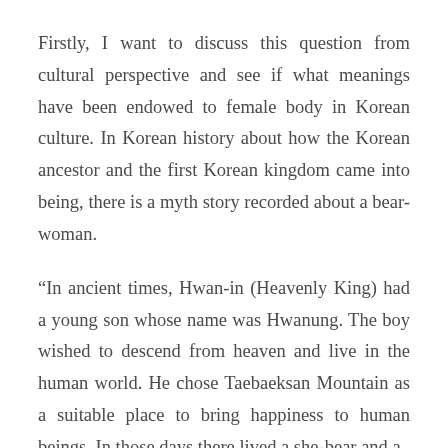Firstly, I want to discuss this question from cultural perspective and see if what meanings have been endowed to female body in Korean culture. In Korean history about how the Korean ancestor and the first Korean kingdom came into being, there is a myth story recorded about a bear-woman.
“In ancient times, Hwan-in (Heavenly King) had a young son whose name was Hwanung. The boy wished to descend from heaven and live in the human world. He chose Taebaeksan Mountain as a suitable place to bring happiness to human beings. In those days there lived a she-bear and a